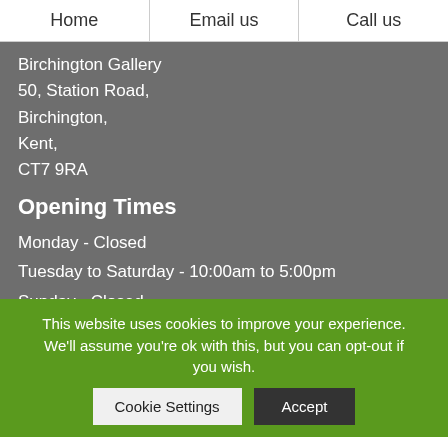Home | Email us | Call us
Birchington Gallery
50, Station Road,
Birchington,
Kent,
CT7 9RA
Opening Times
Monday - Closed
Tuesday to Saturday - 10:00am to 5:00pm
Sunday - Closed
Contact
Telephone
This website uses cookies to improve your experience. We'll assume you're ok with this, but you can opt-out if you wish.